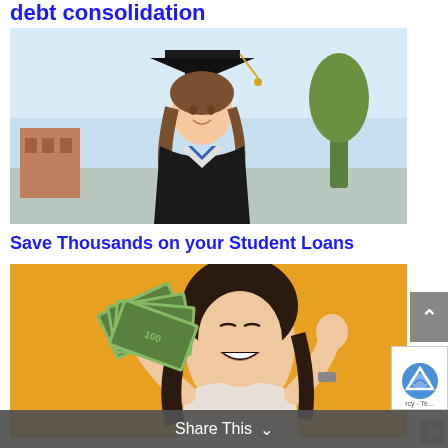debt consolidation
[Figure (photo): Young woman in graduation cap and gown smiling outdoors]
Save Thousands on your Student Loans
[Figure (photo): Excited woman holding a fan of cash money against a yellow/orange background]
Share This